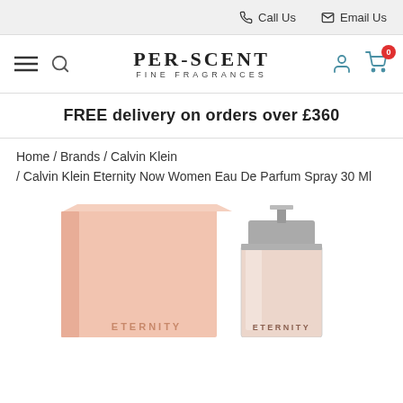Call Us   Email Us
[Figure (logo): Per-Scent Fine Fragrances logo with hamburger menu and search icon on left, user and cart icons on right]
FREE delivery on orders over £360
Home / Brands / Calvin Klein / Calvin Klein Eternity Now Women Eau De Parfum Spray 30 Ml
[Figure (photo): Calvin Klein Eternity Now Women Eau De Parfum Spray 30ml product showing pink box and glass bottle]